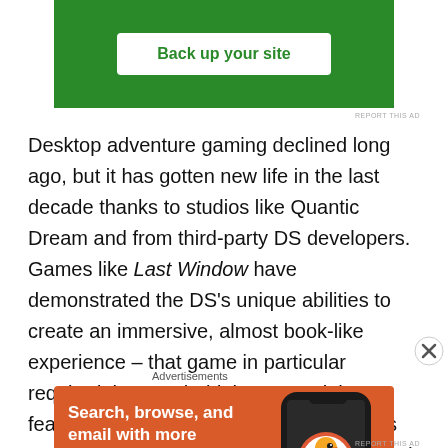[Figure (screenshot): Green advertisement banner with 'Back up your site' button in white]
Desktop adventure gaming declined long ago, but it has gotten new life in the last decade thanks to studios like Quantic Dream and from third-party DS developers. Games like Last Window have demonstrated the DS's unique abilities to create an immersive, almost book-like experience – that game in particular required that you hold the DS upright, featured lots of text to read, and one of its most stunning puzzles could only be solved by closing the
Advertisements
[Figure (screenshot): DuckDuckGo advertisement: orange background with text 'Search, browse, and email with more privacy. All in One Free App' and phone mockup with DuckDuckGo logo]